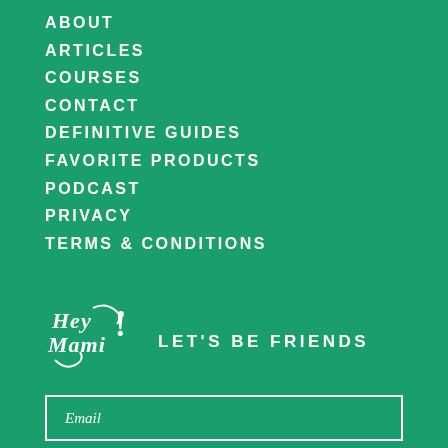ABOUT
ARTICLES
COURSES
CONTACT
DEFINITIVE GUIDES
FAVORITE PRODUCTS
PODCAST
PRIVACY
TERMS & CONDITIONS
[Figure (logo): Hey Mami! logo in white cursive script on green background]
LET'S BE FRIENDS
Email